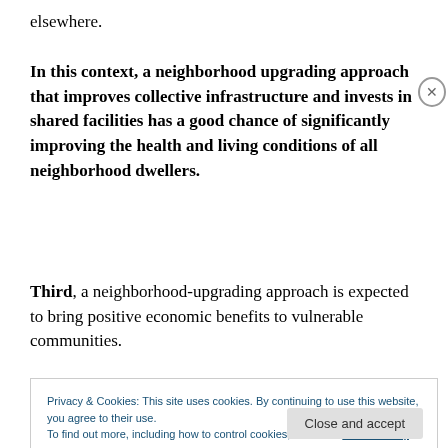elsewhere.
In this context, a neighborhood upgrading approach that improves collective infrastructure and invests in shared facilities has a good chance of significantly improving the health and living conditions of all neighborhood dwellers.
Third, a neighborhood-upgrading approach is expected to bring positive economic benefits to vulnerable communities.
Privacy & Cookies: This site uses cookies. By continuing to use this website, you agree to their use. To find out more, including how to control cookies, see here: Cookie Policy